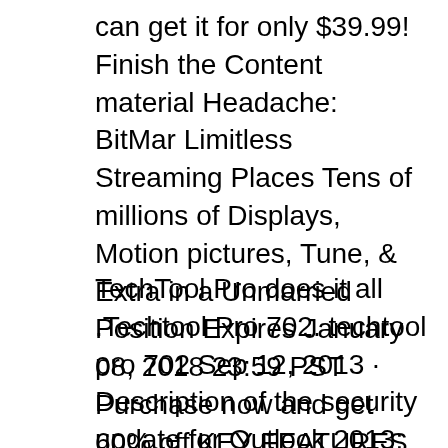can get it for only $39.99! Finish the Content material Headache: BitMar Limitless Streaming Places Tens of millions of Displays, Motion pictures, Tune, & Extra in a Unmarried Position Expires January 08, 2018 23:59 PST Purchase now and get 60% off KEY FEATURES An excessive amount of media making your head spin? BitMar Elite is a one-time-payment provider for locating new [...]
TechTool Pro does it all .Techtool Pro 702. techtool pro 702 Sep 12, 2013 · Description of the security update for Outlook 2013: September 12, 2017□□□□□□densei□□□□□□□□□□□□□□□□□□□□□□□ Techtool Pro will test, rebuild, and repair